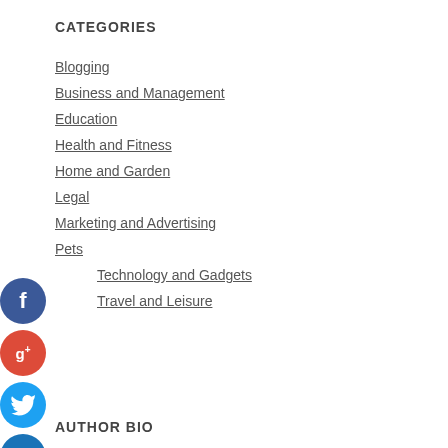CATEGORIES
Blogging
Business and Management
Education
Health and Fitness
Home and Garden
Legal
Marketing and Advertising
Pets
Technology and Gadgets
Travel and Leisure
AUTHOR BIO
Hi I am Ethan Wyatt a business analyst and part time blogger. I am crazy about gathering latest information around the world. I have started this blog to share my knowledge & experience.